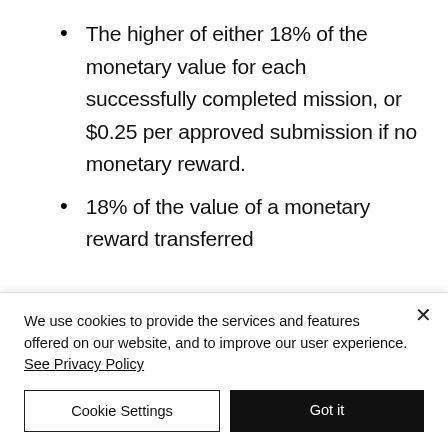The higher of either 18% of the monetary value for each successfully completed mission, or $0.25 per approved submission if no monetary reward.
18% of the value of a monetary reward transferred
We use cookies to provide the services and features offered on our website, and to improve our user experience. See Privacy Policy